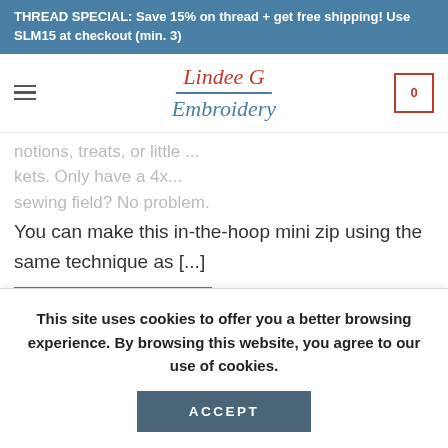THREAD SPECIAL: Save 15% on thread + get free shipping! Use SLM15 at checkout (min. 3)
[Figure (logo): Lindee G Embroidery logo with red script text and blue underline]
notions, treats, or little ... kets. Only have a 4x... sewing field? No problem.
You can make this in-the-hoop mini zip using the same technique as [...]
CONTINUE READING →
Posted in Blog, Embroidery
This site uses cookies to offer you a better browsing experience. By browsing this website, you agree to our use of cookies.
ACCEPT